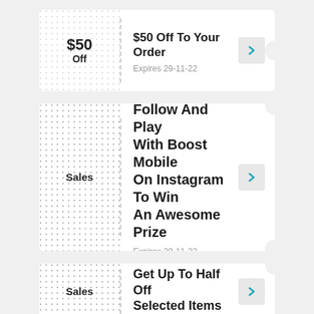$50 Off To Your Order
Expires 29-11-22
Follow And Play With Boost Mobile On Instagram To Win An Awesome Prize
Expires 29-11-22
Get Up To Half Off Selected Items